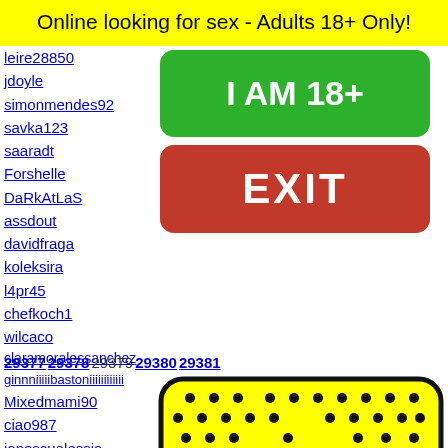Online looking for sex - Adults 18+ Only!
leire28850
jdoyle
simonmendes92
savka123
saaradt
Forshelle
DaRkAtLaS
assdout
davidfragA
koleksiran
l4pr45
chefkoch1
wilcaco
claramoralessanchez
ginnniiiiibastoniiiiiiiiiiii
Mixedmami90
ciao987
ionescualessia
box.reece
anaaaa
vivish
foxyli
boyluv
oley
jleewa
[Figure (illustration): Green button labeled I AM 18+ and red button labeled EXIT, with age verification interface]
29377 29378 29379 29380 29381
[Figure (illustration): Yellow Snapchat ghost logo with black dot grid pattern on rounded yellow rectangle]